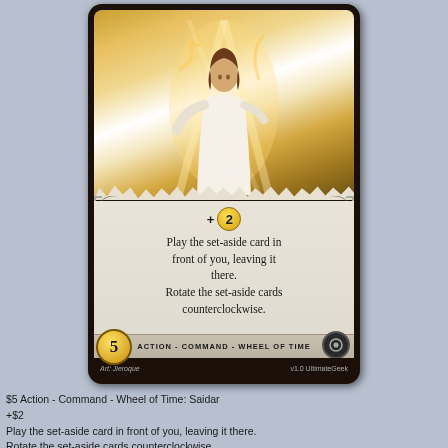[Figure (illustration): A trading card showing a fantasy/Wheel of Time themed card. The card art depicts a woman in white robes surrounded by golden light and swirling energy. The card text reads '+2 Play the set-aside card in front of you, leaving it there. Rotate the set-aside cards counterclockwise.' Card type: Action - Command - Wheel of Time. Cost: 5. Art by Jieroque. v1.0 UltimateGeek.]
$5 Action - Command - Wheel of Time: Saidar
+$2
Play the set-aside card in front of you, leaving it there.
Rotate the set-aside cards counterclockwise.